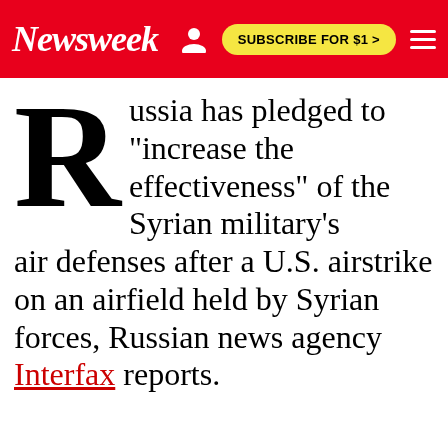Newsweek | SUBSCRIBE FOR $1 >
Russia has pledged to "increase the effectiveness" of the Syrian military's air defenses after a U.S. airstrike on an airfield held by Syrian forces, Russian news agency Interfax reports.